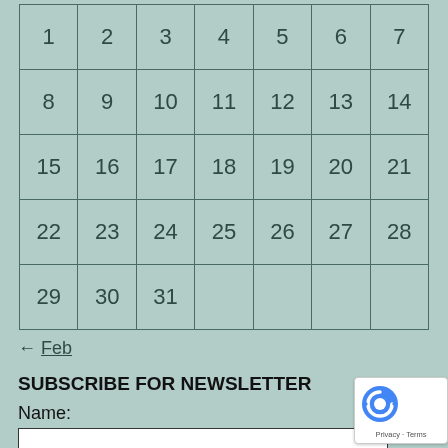| 1 | 2 | 3 | 4 | 5 | 6 | 7 |
| 8 | 9 | 10 | 11 | 12 | 13 | 14 |
| 15 | 16 | 17 | 18 | 19 | 20 | 21 |
| 22 | 23 | 24 | 25 | 26 | 27 | 28 |
| 29 | 30 | 31 |  |  |  |  |
← Feb
SUBSCRIBE FOR NEWSLETTER
Name: